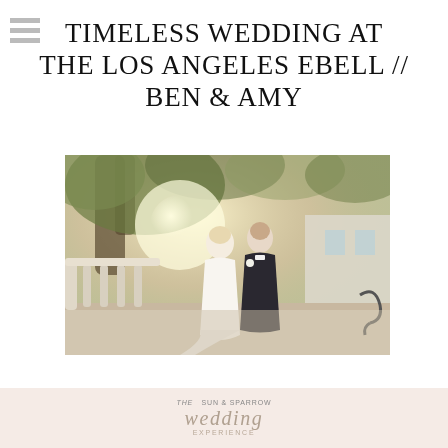TIMELESS WEDDING AT THE LOS ANGELES EBELL // BEN & AMY
[Figure (photo): Wedding portrait of bride and groom standing on a balcony with stone railing and large tree in the background. The bride wears a white mermaid gown and the groom wears a dark tuxedo with bow tie.]
[Figure (logo): The Sun & Sparrow Wedding Experience logo on a blush/peach background]